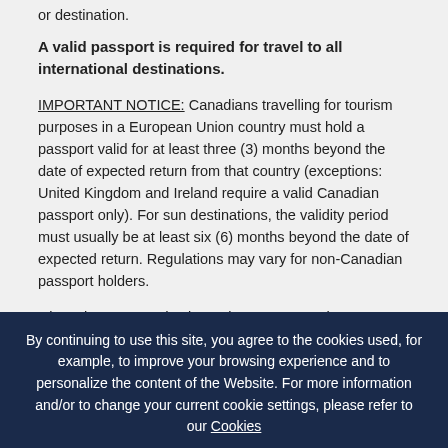or destination.
A valid passport is required for travel to all international destinations.
IMPORTANT NOTICE: Canadians travelling for tourism purposes in a European Union country must hold a passport valid for at least three (3) months beyond the date of expected return from that country (exceptions: United Kingdom and Ireland require a valid Canadian passport only). For sun destinations, the validity period must usually be at least six (6) months beyond the date of expected return. Regulations may vary for non-Canadian passport holders.
Given that entry and exit requirements may change without notice, please consult www.iatatravelcentre.com and www.travel.gc.ca for more information.
By continuing to use this site, you agree to the cookies used, for example, to improve your browsing experience and to personalize the content of the Website. For more information and/or to change your current cookie settings, please refer to our Cookies